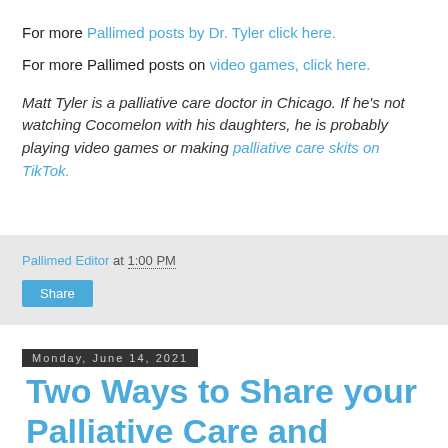For more Pallimed posts by Dr. Tyler click here.
For more Pallimed posts on video games, click here.
Matt Tyler is a palliative care doctor in Chicago. If he's not watching Cocomelon with his daughters, he is probably playing video games or making palliative care skits on TikTok.
Pallimed Editor at 1:00 PM
Share
Monday, June 14, 2021
Two Ways to Share your Palliative Care and Hospice Stories